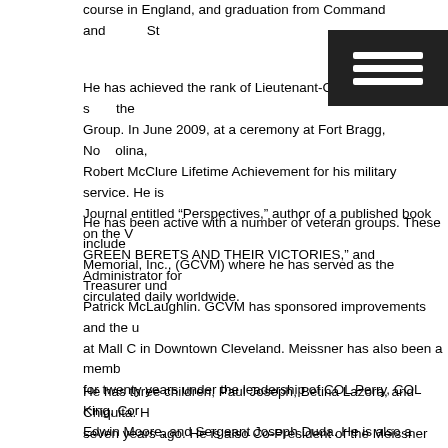course in England, and graduation from Command and Staff St...
He has achieved the rank of Lieutenant-Colonel and se...the Group. In June 2009, at a ceremony at Fort Bragg, North Carolina, Robert McClure Lifetime Achievement for his military service. He is Journal entitled “Perspectives,” author of a published book on the V GREEN BERETS AND THEIR VICTORIES,” and Administrator for circulated daily worldwide.
He has been active with a number of veteran groups. These include Memorial, Inc., (GCVM) where he has served as the Treasurer und Patrick McLaughlin. GCVM has sponsored improvements and the u at Mall C in Downtown Cleveland. Meissner has also been a memb for twenty years under the leadership of COL Perry, COL King, Cor Edwin Moore, and Sergeant Joseph Duda. He is also a Charter Me Veterans composed of legal personnel who served in Viet Nam. Th General” Patrick McLaughlin. He is a member of the Special Forces 45 established by Vietnam veteran James Cole and of the 5th SFG Parkinson.
He has three children, Paul Joseph, Betina Lazora, and Chiquita. H seven years ago. He is also Co-President of the Meissner Family A over two hundred family members.